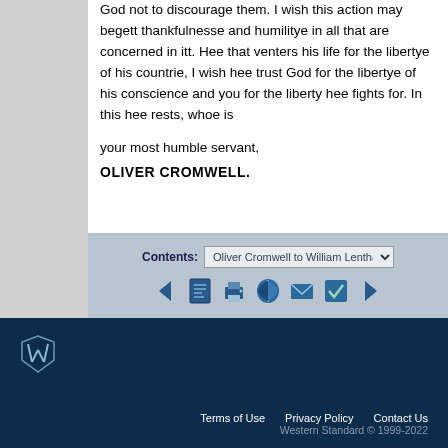God not to discourage them. I wish this action may begett thankfulnesse and humilitye in all that are concerned in itt. Hee that venters his life for the libertye of his countrie, I wish hee trust God for the libertye of his conscience and you for the liberty hee fights for. In this hee rests, whoe is
your most humble servant,
OLIVER CROMWELL.
Contents: Oliver Cromwell to William Lenthall, Sp▾
[Figure (infographic): Navigation toolbar with left arrow, document, print, book, email, checkmark, and right arrow icons]
[Figure (logo): Western Standard logo — stylized W emblem in teal/white on dark navy background]
Terms of Use   Privacy Policy   Contact Us
Western Standard © 1999-2022